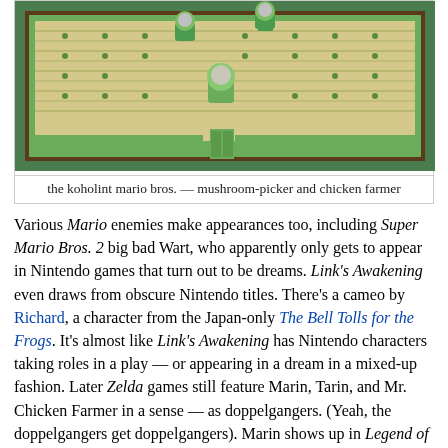[Figure (screenshot): A top-down Game Boy game screenshot showing a field/farm scene with green borders, crop rows, and character sprites resembling Mario and Toad characters on Koholint island.]
the koholint mario bros. — mushroom-picker and chicken farmer
Various Mario enemies make appearances too, including Super Mario Bros. 2 big bad Wart, who apparently only gets to appear in Nintendo games that turn out to be dreams. Link's Awakening even draws from obscure Nintendo titles. There's a cameo by Richard, a character from the Japan-only The Bell Tolls for the Frogs. It's almost like Link's Awakening has Nintendo characters taking roles in a play — or appearing in a dream in a mixed-up fashion. Later Zelda games still feature Marin, Tarin, and Mr. Chicken Farmer in a sense — as doppelgangers. (Yeah, the doppelgangers get doppelgangers). Marin shows up in Legend of Zelda: Ocarina of Time, more or less, as Malon — a ranch girl instead of an island girl. Tarin is Talon, Malon's father. And